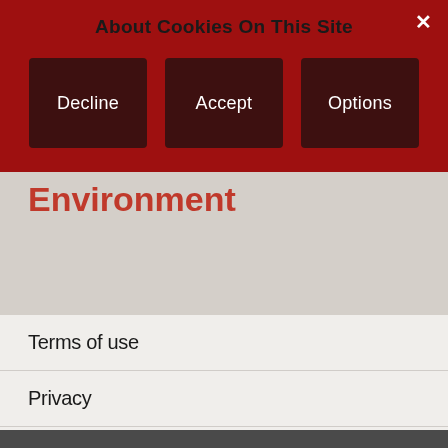About Cookies On This Site
Decline
Accept
Options
Environment
Terms of use
Privacy
Contact
Sitemap